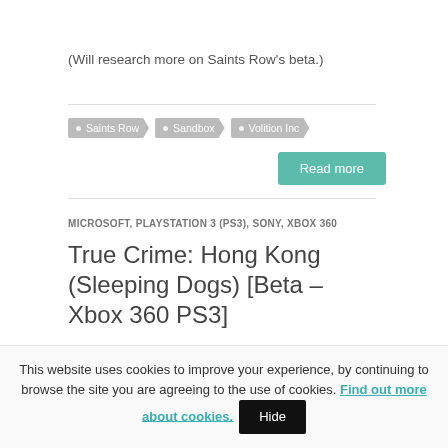(Will research more on Saints Row's beta.)
• Saints Row
• Sandbox
• Volition Inc
Read more
MICROSOFT, PLAYSTATION 3 (PS3), SONY, XBOX 360
True Crime: Hong Kong (Sleeping Dogs) [Beta – Xbox 360 PS3]
This website uses cookies to improve your experience, by continuing to browse the site you are agreeing to the use of cookies. Find out more about cookies. Hide